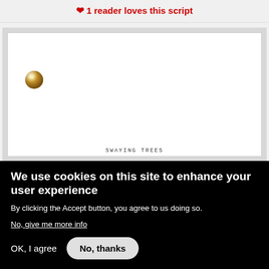❤ 1 reader loves this script
[Figure (illustration): Script preview panel showing a white page with a brass brad/fastener button on the upper left area, and text 'SWAYING TREES' at the bottom center]
We use cookies on this site to enhance your user experience
By clicking the Accept button, you agree to us doing so.
No, give me more info
OK, I agree
No, thanks